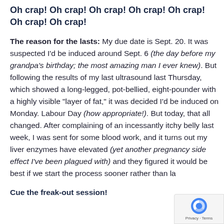Oh crap! Oh crap! Oh crap! Oh crap! Oh crap! Oh crap! Oh crap!
The reason for the lasts: My due date is Sept. 20. It was suspected I'd be induced around Sept. 6 (the day before my grandpa's birthday; the most amazing man I ever knew). But following the results of my last ultrasound last Thursday, which showed a long-legged, pot-bellied, eight-pounder with a highly visible "layer of fat," it was decided I'd be induced on Monday. Labour Day (how appropriate!). But today, that all changed. After complaining of an incessantly itchy belly last week, I was sent for some blood work, and it turns out my liver enzymes have elevated (yet another pregnancy side effect I've been plagued with) and they figured it would be best if we start the process sooner rather than la...
Cue the freak-out session!